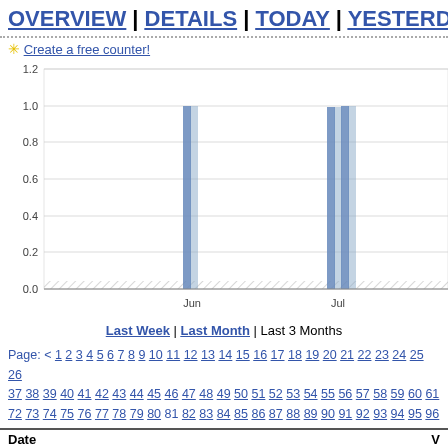OVERVIEW | DETAILS | TODAY | YESTERDAY |
✳ Create a free counter!
[Figure (bar-chart): Visits over time]
Last Week | Last Month | Last 3 Months
Page: < 1 2 3 4 5 6 7 8 9 10 11 12 13 14 15 16 17 18 19 20 21 22 23 24 25 26 37 38 39 40 41 42 43 44 45 46 47 48 49 50 51 52 53 54 55 56 57 58 59 60 61 72 73 74 75 76 77 78 79 80 81 82 83 84 85 86 87 88 89 90 91 92 93 94 95 96
| Date | V |
| --- | --- |
| September 12, 2011 | 5 |
| September 11, 2011 | 0 |